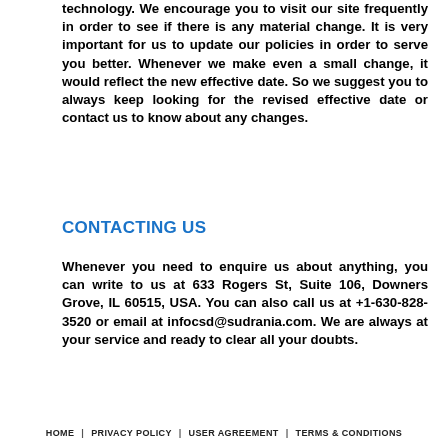technology. We encourage you to visit our site frequently in order to see if there is any material change. It is very important for us to update our policies in order to serve you better. Whenever we make even a small change, it would reflect the new effective date. So we suggest you to always keep looking for the revised effective date or contact us to know about any changes.
CONTACTING US
Whenever you need to enquire us about anything, you can write to us at 633 Rogers St, Suite 106, Downers Grove, IL 60515, USA. You can also call us at +1-630-828-3520 or email at infocsd@sudrania.com. We are always at your service and ready to clear all your doubts.
HOME | PRIVACY POLICY | USER AGREEMENT | TERMS & CONDITIONS